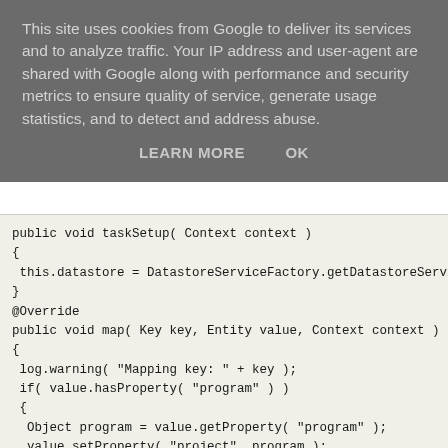This site uses cookies from Google to deliver its services and to analyze traffic. Your IP address and user-agent are shared with Google along with performance and security metrics to ensure quality of service, generate usage statistics, and to detect and address abuse.
LEARN MORE    OK
public void taskSetup( Context context )
{
 this.datastore = DatastoreServiceFactory.getDatastoreService();
}
@Override
public void map( Key key, Entity value, Context context )
{
 log.warning( "Mapping key: " + key );
 if( value.hasProperty( "program" ) )
 {
  Object program = value.getProperty( "program" );
  value.setProperty( "project", program );
  value.setProperty( "program", null );
  datastore.put( value );